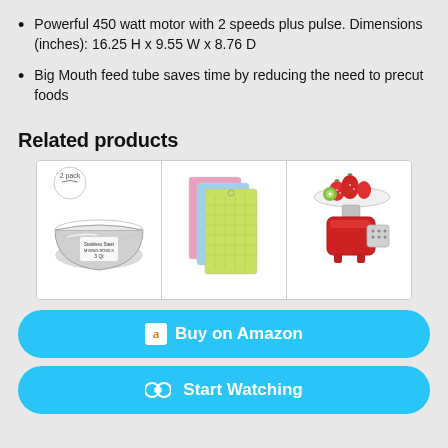Powerful 450 watt motor with 2 speeds plus pulse. Dimensions (inches): 16.25 H x 9.55 W x 8.76 D
Big Mouth feed tube saves time by reducing the need to precut foods
Related products
[Figure (photo): Three product images side by side: stainless steel mixing bowls (2 pack), colorful cutting mats (pink, blue, green), and a red KitchenAid meat grinder attachment with fruit on top]
Buy on Amazon
Start Watching